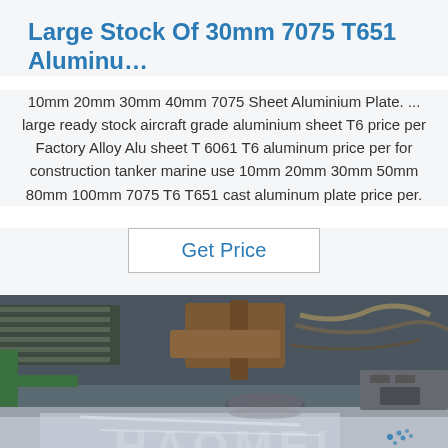Large Stock Of 30mm 7075 T651 Aluminu…
10mm 20mm 30mm 40mm 7075 Sheet Aluminium Plate. ... large ready stock aircraft grade aluminium sheet T6 price per Factory Alloy Alu sheet T 6061 T6 aluminum price per for construction tanker marine use 10mm 20mm 30mm 50mm 80mm 100mm 7075 T6 T651 cast aluminum plate price per.
Get Price
[Figure (photo): Industrial photo of aluminum plate processing machinery in a factory. A grinding or polishing tool is pressing on a shiny aluminum sheet. Watermark 'HAOMEI' visible. TOP logo with blue dots in bottom right corner.]